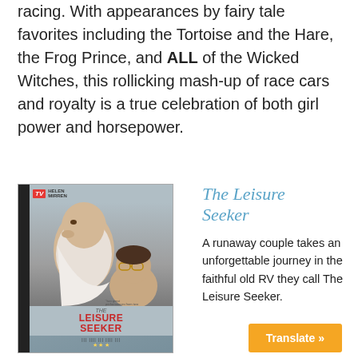racing. With appearances by fairy tale favorites including the Tortoise and the Hare, the Frog Prince, and ALL of the Wicked Witches, this rollicking mash-up of race cars and royalty is a true celebration of both girl power and horsepower.
[Figure (photo): DVD cover of 'The Leisure Seeker' showing an elderly man and a woman with glasses on the cover, with the title in bold red text.]
The Leisure Seeker
A runaway couple takes an unforgettable journey in the faithful old RV they call The Leisure Seeker.